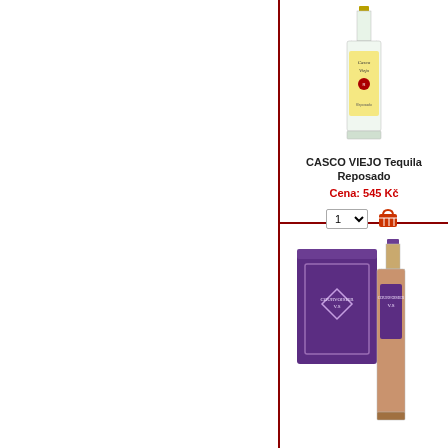[Figure (photo): Bottle of CASCO VIEJO Tequila Reposado - clear bottle with gold cap and yellow label]
CASCO VIEJO Tequila Reposado
Cena:  545 Kč
[Figure (photo): Courvoisier VS Cognac bottle with purple gift box]